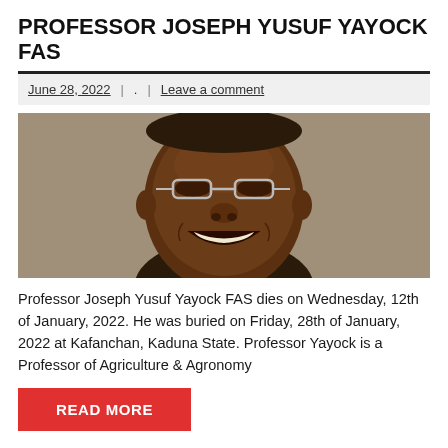PROFESSOR JOSEPH YUSUF YAYOCK FAS
June 28, 2022  |  .  |  Leave a comment
[Figure (photo): Close-up photo of Professor Joseph Yusuf Yayock smiling broadly, wearing glasses and a dark jacket with white stripe detail.]
Professor Joseph Yusuf Yayock FAS dies on Wednesday, 12th of January, 2022. He was buried on Friday, 28th of January, 2022 at Kafanchan, Kaduna State. Professor Yayock is a Professor of Agriculture & Agronomy
READ MORE